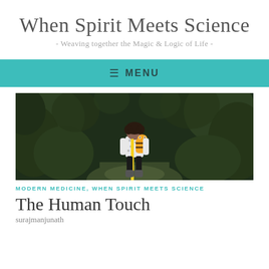When Spirit Meets Science
- Weaving together the Magic & Logic of Life -
≡ MENU
[Figure (photo): A young child seen from behind, walking on a path through green foliage, wearing a polka-dot top and carrying a bee-shaped backpack with a yellow strap.]
MODERN MEDICINE, WHEN SPIRIT MEETS SCIENCE
The Human Touch
surajmanjunath